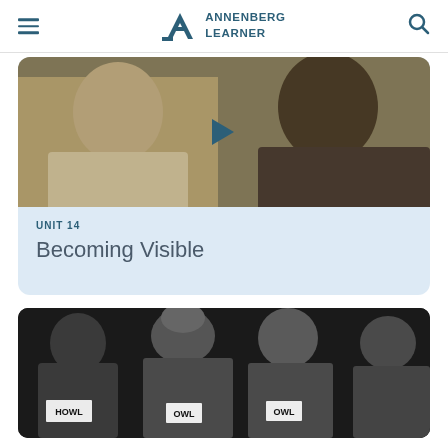ANNENBERG LEARNER
[Figure (photo): Video thumbnail showing two men outdoors, one in a light shirt and one in a dark purple shirt, with a play button overlay]
UNIT 14
Becoming Visible
[Figure (photo): Photo of several men with heads bowed, holding signs that read HOWL and OWL, against a dark background]